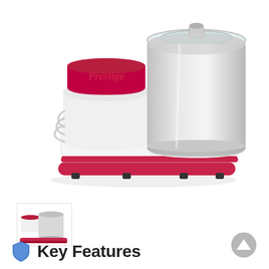[Figure (photo): Prestige brand wet grinder with white and red body, stainless steel drum with transparent lid, red top cap on motor unit, ventilation grilles on left side, red base with rubber feet]
[Figure (photo): Small thumbnail image of the same Prestige wet grinder from a slightly different angle]
Key Features